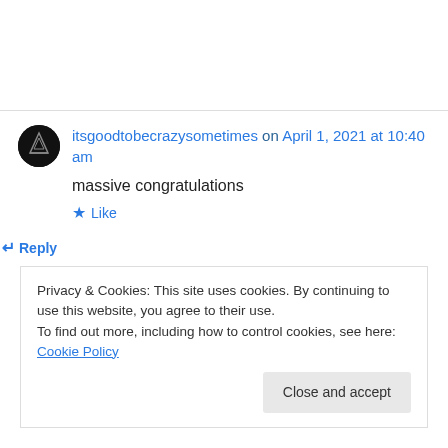itsgoodtobecrazysometimes on April 1, 2021 at 10:40 am
massive congratulations
★ Like
↵ Reply
Privacy & Cookies: This site uses cookies. By continuing to use this website, you agree to their use.
To find out more, including how to control cookies, see here: Cookie Policy
Close and accept